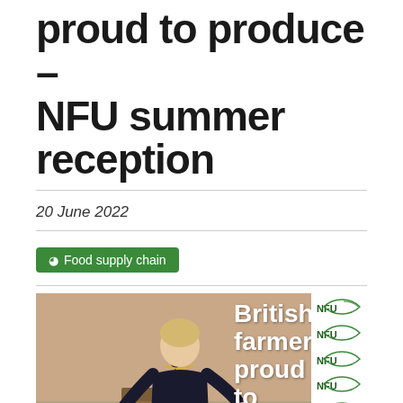proud to produce – NFU summer reception
20 June 2022
Food supply chain
[Figure (photo): Woman speaking at a podium at an NFU summer reception event. Behind her is a banner reading 'British farmers proud to produce' and an NFU branded step-and-repeat backdrop.]